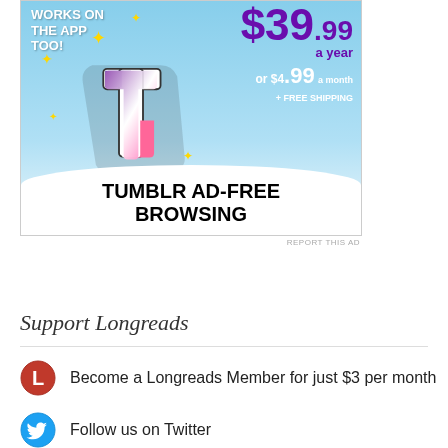[Figure (illustration): Tumblr ad banner showing the Tumblr 't' logo with sparkle stars on a light blue sky background. Top left text reads 'WORKS ON THE APP TOO!'. Top right shows pricing: $39.99 a year or $4.99 a month + FREE SHIPPING. Bottom banner reads 'TUMBLR AD-FREE BROWSING' in bold black text on white.]
REPORT THIS AD
Support Longreads
Become a Longreads Member for just $3 per month
Follow us on Twitter